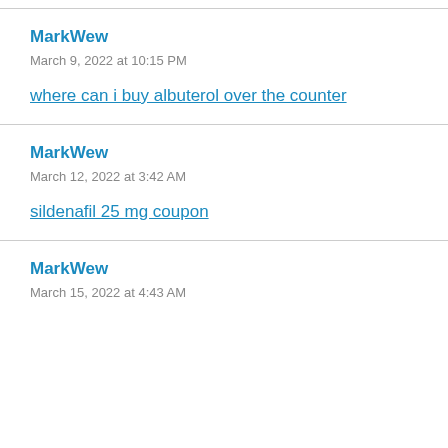MarkWew
March 9, 2022 at 10:15 PM
where can i buy albuterol over the counter
MarkWew
March 12, 2022 at 3:42 AM
sildenafil 25 mg coupon
MarkWew
March 15, 2022 at 4:43 AM